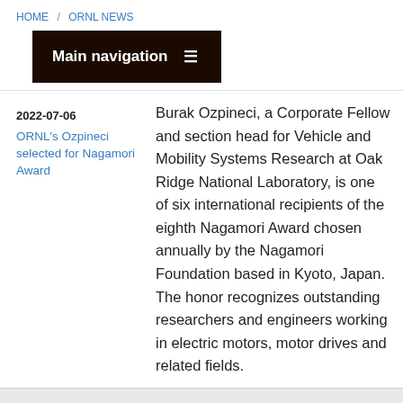HOME / ORNL NEWS
Main navigation ≡
2022-07-06
ORNL's Ozpineci selected for Nagamori Award
Burak Ozpineci, a Corporate Fellow and section head for Vehicle and Mobility Systems Research at Oak Ridge National Laboratory, is one of six international recipients of the eighth Nagamori Award chosen annually by the Nagamori Foundation based in Kyoto, Japan. The honor recognizes outstanding researchers and engineers working in electric motors, motor drives and related fields.